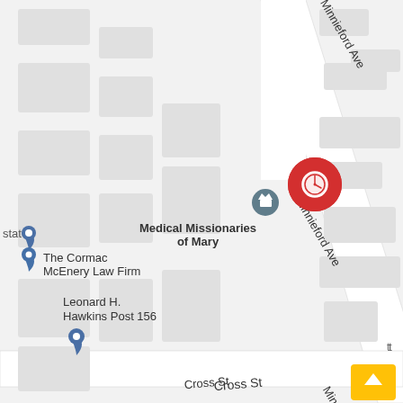[Figure (map): Google Maps screenshot showing Minnieford Ave in the Bronx/City Island area. A red location pin with a white clock icon is visible near the top center of the map on Minnieford Ave. Labels include Medical Missionaries of Mary with a gray location marker, The Cormac McEnery Law Firm with a blue location marker, Leonard H. Hawkins Post 156, Cross St street label, and partial text 'state' and 'st' at the edges. Building footprints shown as light gray rectangles. A yellow 'scroll to top' button appears in the bottom right corner.]